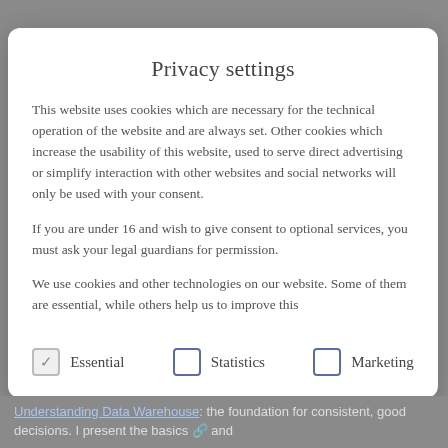Privacy settings
This website uses cookies which are necessary for the technical operation of the website and are always set. Other cookies which increase the usability of this website, used to serve direct advertising or simplify interaction with other websites and social networks will only be used with your consent.
If you are under 16 and wish to give consent to optional services, you must ask your legal guardians for permission.
We use cookies and other technologies on our website. Some of them are essential, while others help us to improve this
Essential (checked)
Statistics (unchecked)
Marketing (unchecked)
Understanding Data Warehouse: the foundation for consistent, good decisions. I present the basics 🔗 and